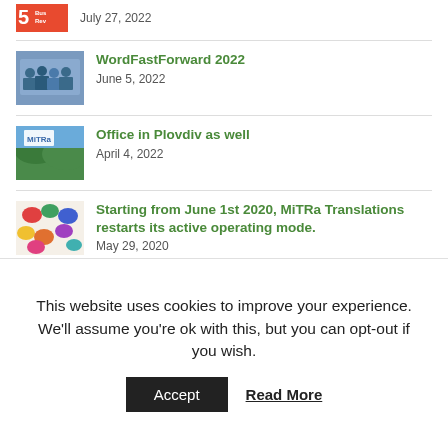July 27, 2022
WordFastForward 2022
June 5, 2022
Office in Plovdiv as well
April 4, 2022
Starting from June 1st 2020, MiTRa Translations restarts its active operating mode.
May 29, 2020
От 1 юни 2020 г. MiTRa Translations възобновява стандартния си режим на работа.
May 29, 2020
This website uses cookies to improve your experience. We'll assume you're ok with this, but you can opt-out if you wish.
Accept
Read More